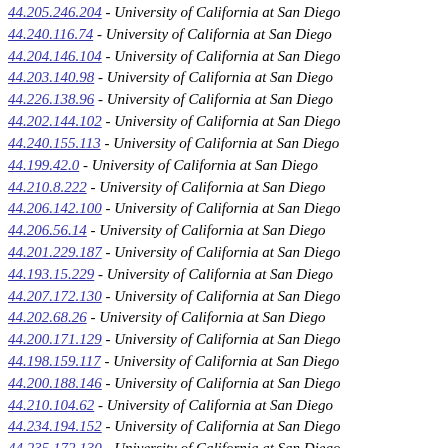44.205.246.204 - University of California at San Diego
44.240.116.74 - University of California at San Diego
44.204.146.104 - University of California at San Diego
44.203.140.98 - University of California at San Diego
44.226.138.96 - University of California at San Diego
44.202.144.102 - University of California at San Diego
44.240.155.113 - University of California at San Diego
44.199.42.0 - University of California at San Diego
44.210.8.222 - University of California at San Diego
44.206.142.100 - University of California at San Diego
44.206.56.14 - University of California at San Diego
44.201.229.187 - University of California at San Diego
44.193.15.229 - University of California at San Diego
44.207.172.130 - University of California at San Diego
44.202.68.26 - University of California at San Diego
44.200.171.129 - University of California at San Diego
44.198.159.117 - University of California at San Diego
44.200.188.146 - University of California at San Diego
44.210.104.62 - University of California at San Diego
44.234.194.152 - University of California at San Diego
44.235.172.130 - University of California at San Diego
44.209.226.184 - University of California at San Diego
44.209.197.155 - University of California at San Diego
44.210.0.214 - University of California at San Diego
44.199.27.241 - University of California at San Diego
44.209.168.126 - University of California at San Diego
44.201.221.179 - University of California at San Diego
44.207.25.239 - University of California at San Diego
44.209.156.114 - University of California at San Diego
44.209.255.213 - University of California at San Diego